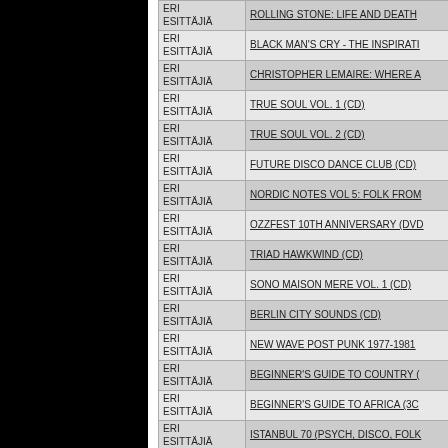| Artist | Title |
| --- | --- |
| ERI ESITTÄJIÄ | ROLLING STONE: LIFE AND DEATH |
| ERI ESITTÄJIÄ | BLACK MAN'S CRY - THE INSPIRATI |
| ERI ESITTÄJIÄ | CHRISTOPHER LEMAIRE: WHERE A |
| ERI ESITTÄJIÄ | TRUE SOUL VOL. 1 (CD) |
| ERI ESITTÄJIÄ | TRUE SOUL VOL. 2 (CD) |
| ERI ESITTÄJIÄ | FUTURE DISCO DANCE CLUB (CD) |
| ERI ESITTÄJIÄ | NORDIC NOTES VOL 5: FOLK FROM |
| ERI ESITTÄJIÄ | OZZFEST 10TH ANNIVERSARY (DVD |
| ERI ESITTÄJIÄ | TRIAD HAWKWIND (CD) |
| ERI ESITTÄJIÄ | SONO MAISON MERE VOL. 1 (CD) |
| ERI ESITTÄJIÄ | BERLIN CITY SOUNDS (CD) |
| ERI ESITTÄJIÄ | NEW WAVE POST PUNK 1977-1981 |
| ERI ESITTÄJIÄ | BEGINNER'S GUIDE TO COUNTRY ( |
| ERI ESITTÄJIÄ | BEGINNER'S GUIDE TO AFRICA (3C |
| ERI ESITTÄJIÄ | ISTANBUL 70 (PSYCH, DISCO, FOLK |
| ERI ESITTÄJIÄ | ELEKTROPIK #1 (CD) |
| ERI ESITTÄJIÄ | CURTIS MAYFIELDÄ´S WINDY CITY |
| ERI ESITTÄJIÄ | OSW MIXTAPE (CD) |